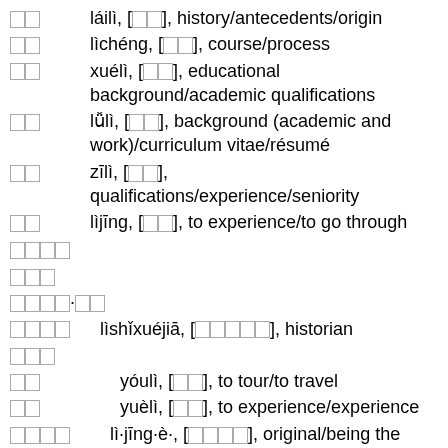来历 láilì, [来历], history/antecedents/origin
历程 lìchéng, [历程], course/process
学历 xuélì, [学历], educational background/academic qualifications
履历 lǚlì, [履历], background (academic and work)/curriculum vitae/résumé
资历 zīlì, [资历], qualifications/experience/seniority
历经 lìjīng, [历经], to experience/to go through
历史学家 lìshǐxuéjiā, [历史学家], historian
游历 yóulì, [游历], to tour/to travel
阅历 yuèlì, [阅历], to experience/experience